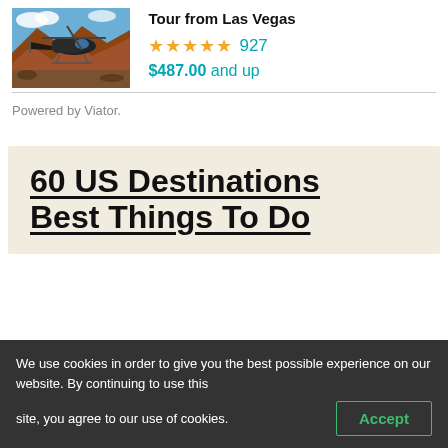[Figure (photo): Helicopter on rocky canyon landscape with red cliffs and blue sky]
Tour from Las Vegas
★★★★★ 927
$487.00 and up
Powered by Viator.
60 US Destinations Best Things To Do
We use cookies in order to give you the best possible experience on our website. By continuing to use this site, you agree to our use of cookies.
Accept